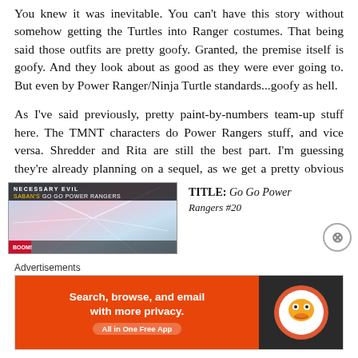You knew it was inevitable. You can't have this story without somehow getting the Turtles into Ranger costumes. That being said those outfits are pretty goofy. Granted, the premise itself is goofy. And they look about as good as they were ever going to. But even by Power Ranger/Ninja Turtle standards...goofy as hell.
As I've said previously, pretty paint-by-numbers team-up stuff here. The TMNT characters do Power Rangers stuff, and vice versa. Shredder and Rita are still the best part. I'm guessing they're already planning on a sequel, as we get a pretty obvious hint.
[Figure (illustration): Comic book cover showing 'Necessary Evil' with colorful Power Rangers/TMNT imagery]
TITLE: Go Go Power Rangers #20
Advertisements
[Figure (screenshot): DuckDuckGo advertisement banner: 'Search, browse, and email with more privacy. All in One Free App']